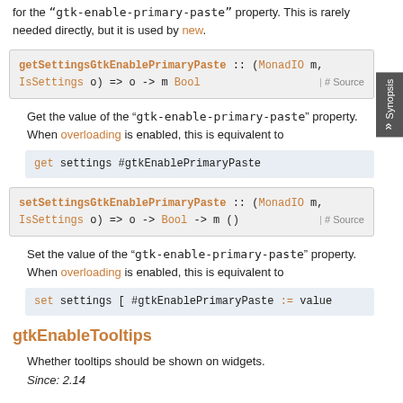for the "gtk-enable-primary-paste" property. This is rarely needed directly, but it is used by new.
Get the value of the “gtk-enable-primary-paste” property. When overloading is enabled, this is equivalent to
Set the value of the “gtk-enable-primary-paste” property. When overloading is enabled, this is equivalent to
gtkEnableTooltips
Whether tooltips should be shown on widgets.
Since: 2.14